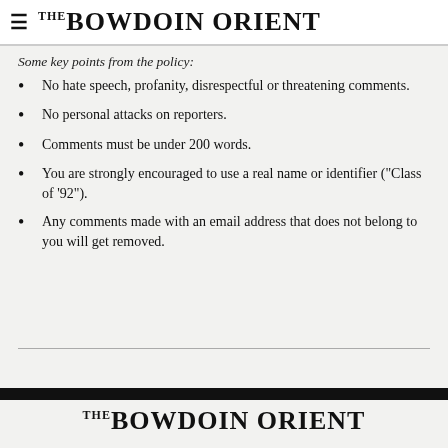THE BOWDOIN ORIENT
Some key points from the policy:
No hate speech, profanity, disrespectful or threatening comments.
No personal attacks on reporters.
Comments must be under 200 words.
You are strongly encouraged to use a real name or identifier ("Class of '92").
Any comments made with an email address that does not belong to you will get removed.
THE BOWDOIN ORIENT